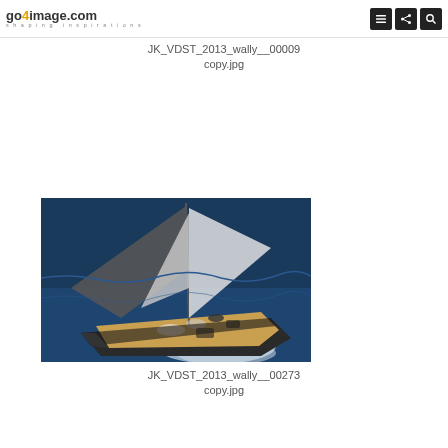go4image.com shaping inspirations
JK_VDST_2013_wally__00009 copy.jpg
[Figure (photo): Aerial view of a sailing yacht with large dark sails on deep blue ocean water, crew visible on wooden deck]
JK_VDST_2013_wally__00273 copy.jpg